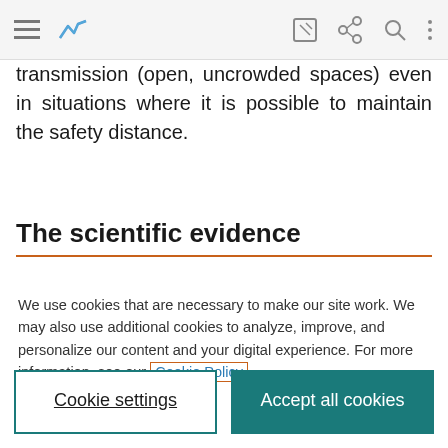[toolbar with navigation icons]
transmission (open, uncrowded spaces) even in situations where it is possible to maintain the safety distance.
The scientific evidence
We use cookies that are necessary to make our site work. We may also use additional cookies to analyze, improve, and personalize our content and your digital experience. For more information, see our Cookie Policy
Cookie settings | Accept all cookies